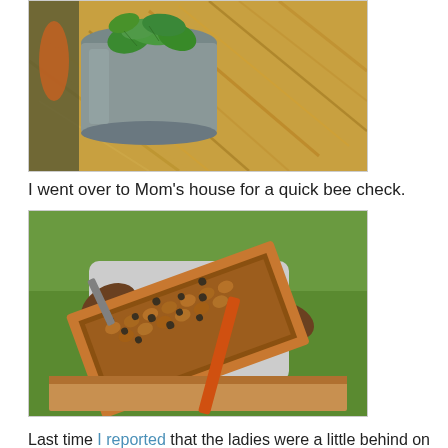[Figure (photo): Photo of green leafy vegetables (spinach) in a metal bucket placed on a bed of straw/hay]
I went over to Mom's house for a quick bee check.
[Figure (photo): Photo of a beekeeper in gloves holding up a honeycomb frame covered with bees, with hive boxes visible below]
Last time I reported that the ladies were a little behind on the honey storage front. The supers were pretty empty and we had very few cells of capped (ready) honey. I was